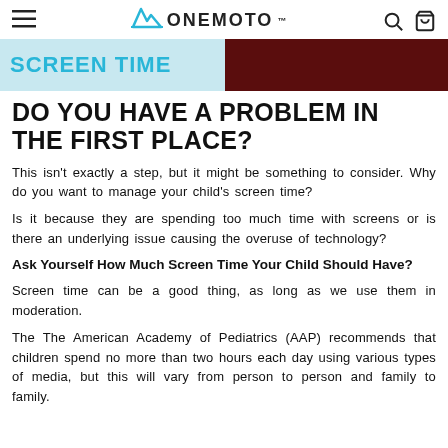≡   ◄||| ONEMOTO™   🔍  🛒
[Figure (photo): Banner image with 'SCREEN TIME' text on left side in cyan on light blue background, and a dark red/maroon photo on the right side]
DO YOU HAVE A PROBLEM IN THE FIRST PLACE?
This isn't exactly a step, but it might be something to consider. Why do you want to manage your child's screen time?
Is it because they are spending too much time with screens or is there an underlying issue causing the overuse of technology?
Ask Yourself How Much Screen Time Your Child Should Have?
Screen time can be a good thing, as long as we use them in moderation.
The The American Academy of Pediatrics (AAP) recommends that children spend no more than two hours each day using various types of media, but this will vary from person to person and family to family.